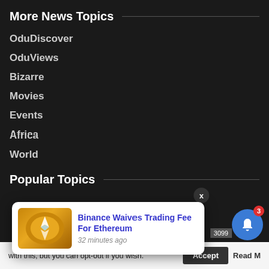More News Topics
OduDiscover
OduViews
Bizarre
Movies
Events
Africa
World
Popular Topics
[Figure (screenshot): Notification card showing 'Binance Waives Trading Fee For Ethereum' with an Ethereum coin image, timestamp '32 minutes ago', and a close (X) button]
with this, but you can opt-out if you wish.
Accept
Read M...
3099
3